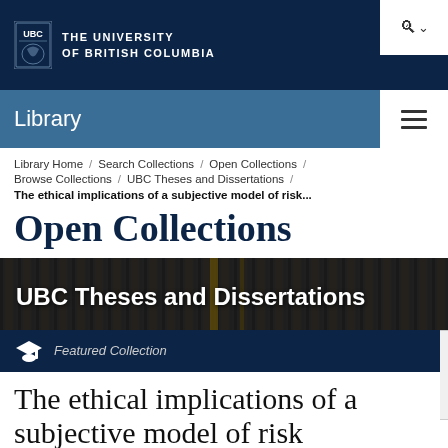THE UNIVERSITY OF BRITISH COLUMBIA
Library
Library Home / Search Collections / Open Collections / Browse Collections / UBC Theses and Dissertations /
The ethical implications of a subjective model of risk...
Open Collections
[Figure (photo): Dark background image of library shelves/archives with overlay text 'UBC Theses and Dissertations']
Featured Collection
The ethical implications of a subjective model of risk...